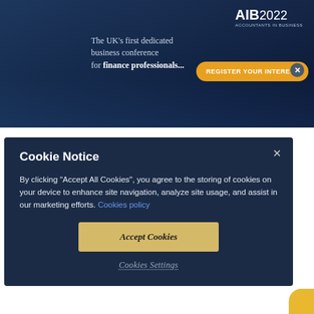[Figure (screenshot): AIB 2022 conference banner: dark blue city skyline background with text 'The UK's first dedicated business conference for finance professionals...' and an orange 'REGISTER YOUR INTEREST' button]
Privacy Policy
Cookie Notice
By clicking "Accept All Cookies", you agree to the storing of cookies on your device to enhance site navigation, analyze site usage, and assist in our marketing efforts. Cookies policy
Accept Cookies
Cookies Settings